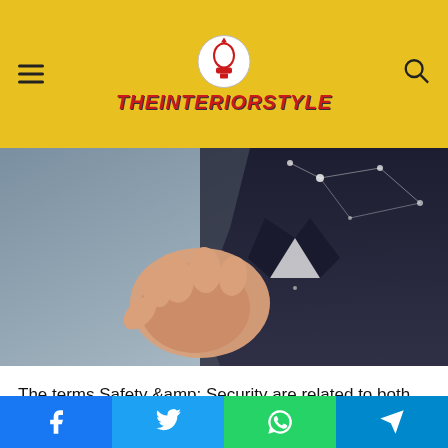THEINTERIORSTYLE
[Figure (photo): A person in a dark business suit extending an open palm forward, with abstract light dots connecting in the background suggesting networking or digital connectivity.]
The terms Safety &amp; Security are related to both the physical and mental health of employees and the protection of the business from external threats. These concerns are important to business owners who often provide health insurance and workmen's compensation insurance. The right safety measures can help keep your employees healthy and productive...
Facebook | Twitter | WhatsApp | Telegram